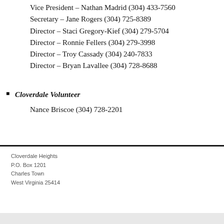Vice President – Nathan Madrid (304) 433-7560
Secretary – Jane Rogers (304) 725-8389
Director – Staci Gregory-Kief (304) 279-5704
Director – Ronnie Fellers (304) 279-3998
Director – Troy Cassady (304) 240-7833
Director – Bryan Lavallee (304) 728-8688
Cloverdale Volunteer
Nance Briscoe (304) 728-2201
Cloverdale Heights
P.O. Box 1201
Charles Town
West Virginia 25414